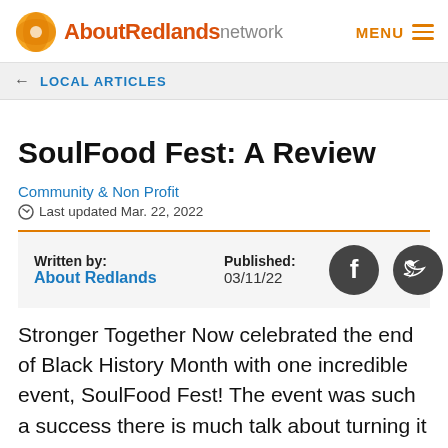AboutRedlands network | MENU
← LOCAL ARTICLES
SoulFood Fest: A Review
Community & Non Profit
Last updated Mar. 22, 2022
Written by: About Redlands | Published: 03/11/22
Stronger Together Now celebrated the end of Black History Month with one incredible event, SoulFood Fest! The event was such a success there is much talk about turning it into a bi-annual